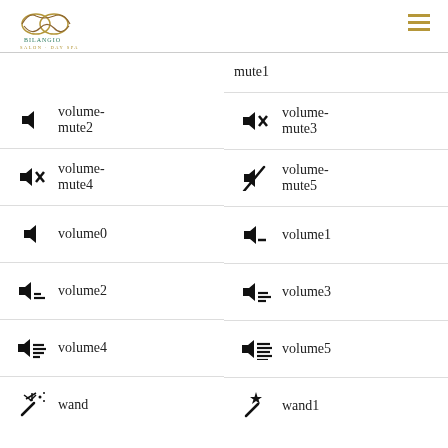Bilangio Salon Day Spa — logo and navigation
mute1
volume-mute2
volume-mute3
volume-mute4
volume-mute5
volume0
volume1
volume2
volume3
volume4
volume5
wand
wand1